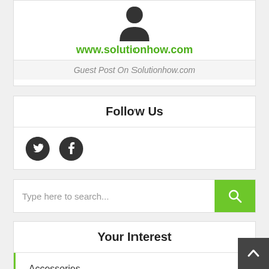[Figure (illustration): User profile silhouette icon above www.solutionhow.com URL and 'Guest Post On Solutionhow.com' subtitle]
www.solutionhow.com
Guest Post On Solutionhow.com
Follow Us
[Figure (illustration): Twitter bird icon and Facebook circle icon]
Type here to search...
Your Interest
Accessories
Android App
Apple
Artificial Intelligence